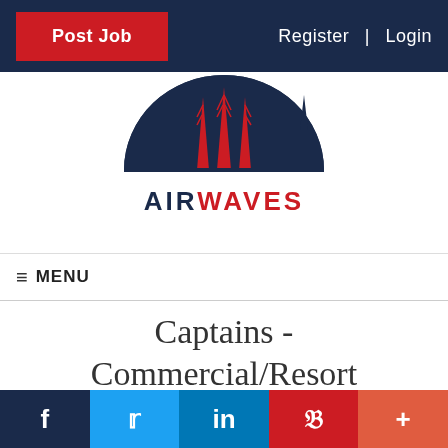Post Job   Register | Login
[Figure (logo): Airwaves logo: dark blue semicircle silhouette with city skyline and three red antenna towers, with 'AIRWAVES' text below in blue and red]
☰ MENU
Captains - Commercial/Resort Day Charter
f  t  in  P  +